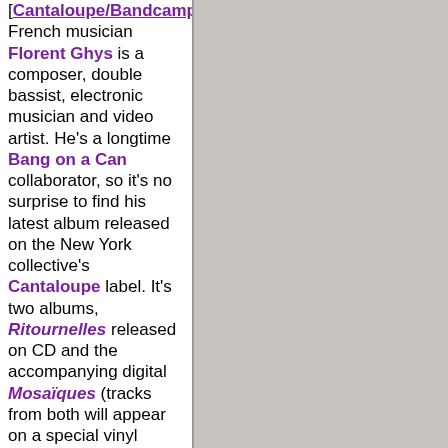[Cantaloupe/Bandcamp] French musician Florent Ghys is a composer, double bassist, electronic musician and video artist. He's a longtime Bang on a Can collaborator, so it's no surprise to find his latest album released on the New York collective's Cantaloupe label. It's two albums, Ritournelles released on CD and the accompanying digital Mosaïques (tracks from both will appear on a special vinyl edition later in the year). The former album focuses on double bass and other instruments, but